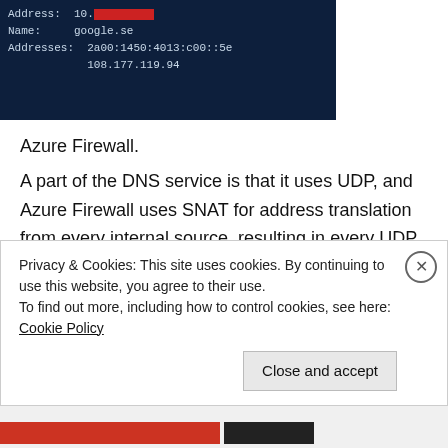[Figure (screenshot): Terminal/command prompt window with dark navy background showing DNS lookup output: 'Address: 10.[redacted]', 'Name: google.se', 'Addresses: 2a00:1450:4013:c00::5e', '108.177.119.94']
Azure Firewall.
A part of the DNS service is that it uses UDP, and Azure Firewall uses SNAT for address translation from every internal source, resulting in every UDP request from one IP to an external provider (8.8.8.8, 8.8.4.4, 1.1.1.1 etc.) will use one port out of the 65.000 available in the TCP protocol for that
Privacy & Cookies: This site uses cookies. By continuing to use this website, you agree to their use.
To find out more, including how to control cookies, see here: Cookie Policy
Close and accept